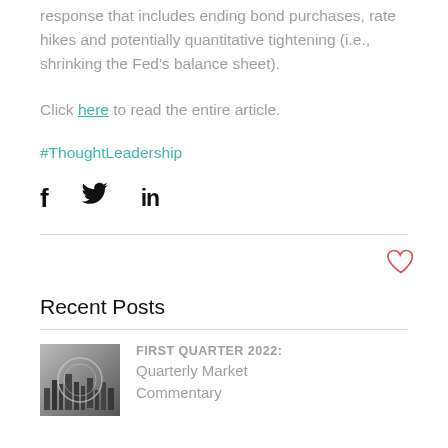response that includes ending bond purchases, rate hikes and potentially quantitative tightening (i.e., shrinking the Fed's balance sheet).
Click here to read the entire article.
#ThoughtLeadership
[Figure (other): Social share icons: Facebook (f), Twitter (bird), LinkedIn (in)]
[Figure (other): Heart/like icon (outline, red/coral color) for liking the post]
Recent Posts
[Figure (photo): Thumbnail image for First Quarter 2022 Quarterly Market Commentary post — black and white cityscape with circular overlay]
FIRST QUARTER 2022: Quarterly Market Commentary